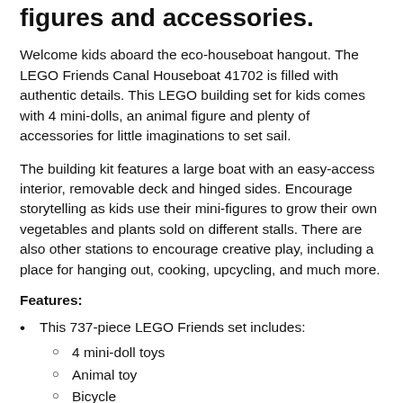figures and accessories.
Welcome kids aboard the eco-houseboat hangout. The LEGO Friends Canal Houseboat 41702 is filled with authentic details. This LEGO building set for kids comes with 4 mini-dolls, an animal figure and plenty of accessories for little imaginations to set sail.
The building kit features a large boat with an easy-access interior, removable deck and hinged sides. Encourage storytelling as kids use their mini-figures to grow their own vegetables and plants sold on different stalls. There are also other stations to encourage creative play, including a place for hanging out, cooking, upcycling, and much more.
Features:
This 737-piece LEGO Friends set includes:
4 mini-doll toys
Animal toy
Bicycle